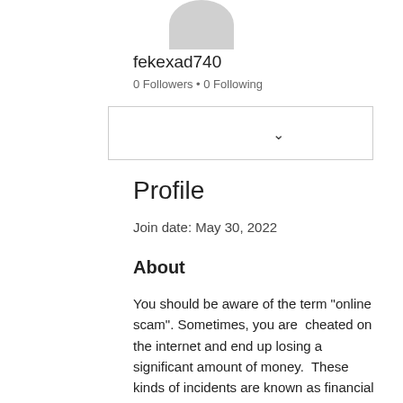[Figure (illustration): Gray circular avatar placeholder, partially visible at the top of the page]
fekexad740
0 Followers • 0 Following
[Figure (screenshot): Dropdown selection box with a chevron/down arrow on the right side]
Profile
Join date: May 30, 2022
About
You should be aware of the term "online scam". Sometimes, you are  cheated on the internet and end up losing a significant amount of money.  These kinds of incidents are known as financial losses. The instances of these accidents are increasing with the growth of online websites. If, you're brand